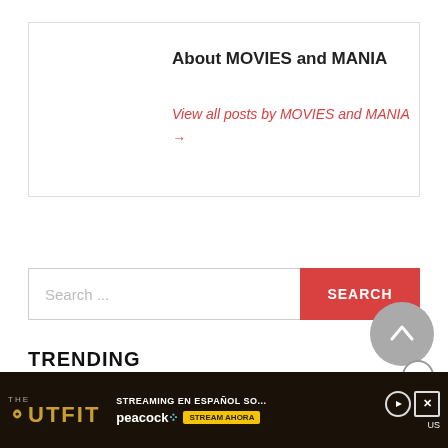[Figure (photo): Photo of a ventriloquist dummy with human-like features, brown hair, glasses, and a white collar]
About MOVIES and MANIA
View all posts by MOVIES and MANIA →
Search ...
TRENDING
[Figure (photo): Thumbnail image showing a dark figure, part of a trending article]
[Figure (screenshot): Advertisement banner for 'The Outfit' streaming on Peacock - STREAMING EN ESPAÑOL SOL - STREAM AHORA]